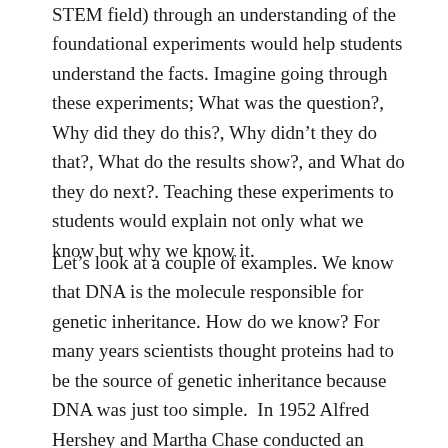STEM field) through an understanding of the foundational experiments would help students understand the facts. Imagine going through these experiments; What was the question?, Why did they do this?, Why didn't they do that?, What do the results show?, and What do they do next?. Teaching these experiments to students would explain not only what we know but why we know it.
Let's look at a couple of examples. We know that DNA is the molecule responsible for genetic inheritance. How do we know? For many years scientists thought proteins had to be the source of genetic inheritance because DNA was just too simple.  In 1952 Alfred Hershey and Martha Chase conducted an experiment that provided